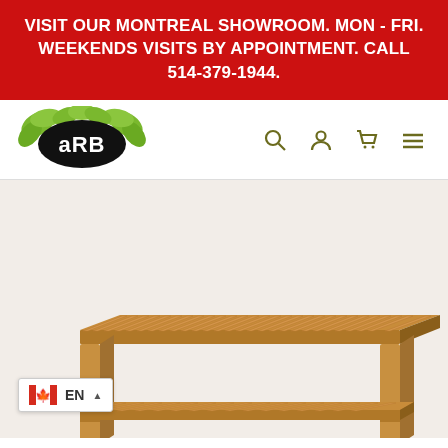VISIT OUR MONTREAL SHOWROOM. MON - FRI. WEEKENDS VISITS BY APPOINTMENT. CALL 514-379-1944.
[Figure (logo): ARB company logo with green leaf design and black oval with white 'aRB' text, with navigation icons (search, account, cart, menu)]
[Figure (photo): Wooden teak slat bench with simple rectangular frame, photographed at an angle showing the slatted top surface and lower shelf structure]